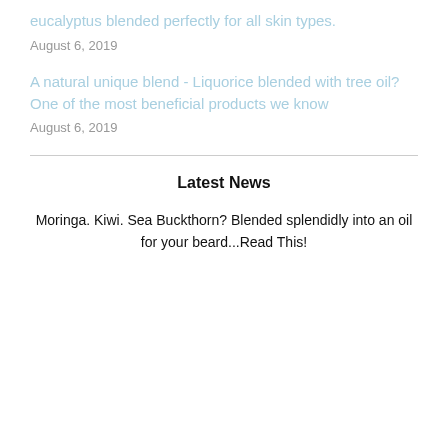eucalyptus blended perfectly for all skin types.
August 6, 2019
A natural unique blend - Liquorice blended with tree oil? One of the most beneficial products we know
August 6, 2019
Latest News
Moringa. Kiwi. Sea Buckthorn? Blended splendidly into an oil for your beard...Read This!